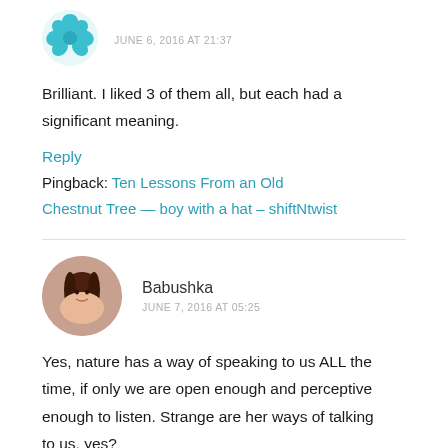[Figure (illustration): Teal decorative avatar icon (floral/leaf design) in top left]
JUNE 6, 2016 AT 21:37
Brilliant. I liked 3 of them all, but each had a significant meaning.
Reply
Pingback: Ten Lessons From an Old Chestnut Tree — boy with a hat – shiftNtwist
[Figure (photo): Circular photo avatar of Babushka, a woman with dark hair]
Babushka
JUNE 7, 2016 AT 05:25
Yes, nature has a way of speaking to us ALL the time, if only we are open enough and perceptive enough to listen. Strange are her ways of talking to us, yes?